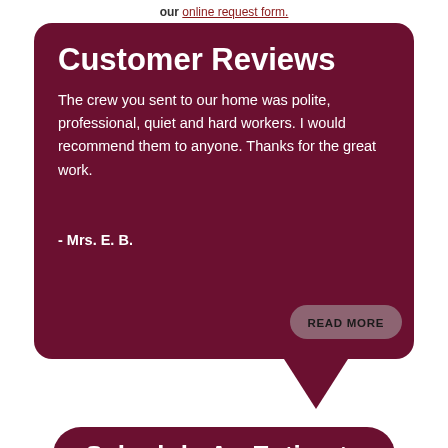our online request form.
[Figure (infographic): Dark red speech bubble box with title 'Customer Reviews', a customer testimonial quote, attribution to Mrs. E. B., and a READ MORE button. A downward pointing triangle tail appears at the bottom right of the bubble.]
The crew you sent to our home was polite, professional, quiet and hard workers. I would recommend them to anyone. Thanks for the great work.
- Mrs. E. B.
READ MORE
Schedule An Estimate